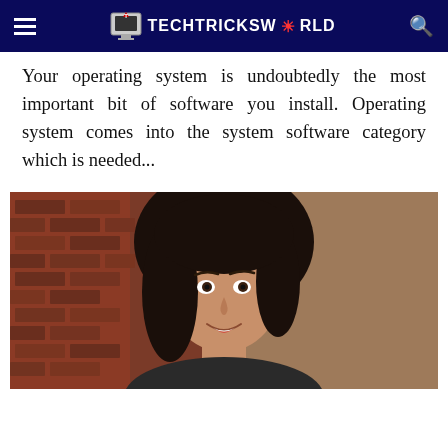TECHTRICKSWORLD
Your operating system is undoubtedly the most important bit of software you install. Operating system comes into the system software category which is needed...
[Figure (photo): Portrait photo of a young woman with dark hair, smiling, in front of a brick wall background]